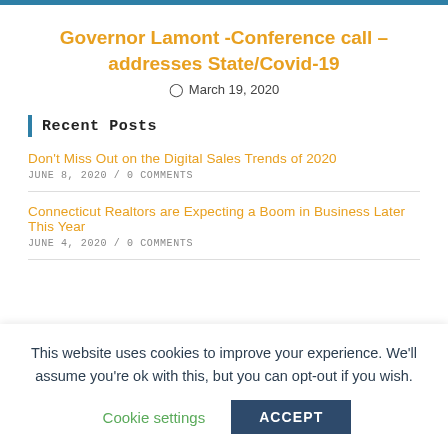Governor Lamont -Conference call – addresses State/Covid-19
March 19, 2020
Recent Posts
Don't Miss Out on the Digital Sales Trends of 2020
JUNE 8, 2020 / 0 COMMENTS
Connecticut Realtors are Expecting a Boom in Business Later This Year
JUNE 4, 2020 / 0 COMMENTS
This website uses cookies to improve your experience. We'll assume you're ok with this, but you can opt-out if you wish.
Cookie settings
ACCEPT